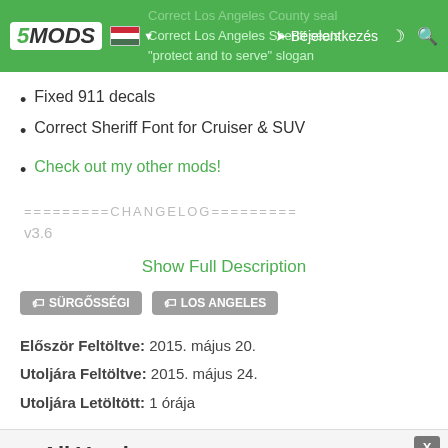5MODS — navigation bar with logo, Hungarian flag, Bejelentkezés (login), dark mode and search icons
Fixed 911 decals
Correct Sheriff Font for Cruiser & SUV
Check out my other mods!
=========CHANGELOG=========
v3.6
Show Full Description
🏷 SÜRGŐSSÉGI   🏷 LOS ANGELES
Először Feltöltve: 2015. május 20.
Utoljára Feltöltve: 2015. május 24.
Utoljára Letöltött: 1 órája
All Versions